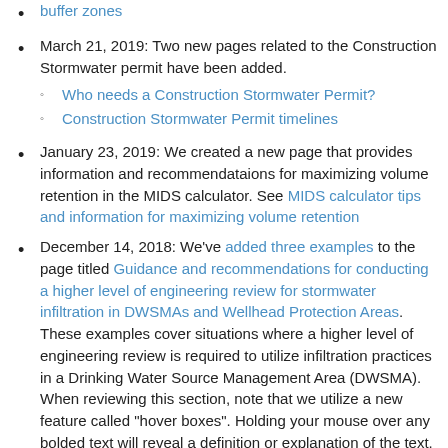buffer zones
March 21, 2019: Two new pages related to the Construction Stormwater permit have been added.
Who needs a Construction Stormwater Permit?
Construction Stormwater Permit timelines
January 23, 2019: We created a new page that provides information and recommendataions for maximizing volume retention in the MIDS calculator. See MIDS calculator tips and information for maximizing volume retention
December 14, 2018: We've added three examples to the page titled Guidance and recommendations for conducting a higher level of engineering review for stormwater infiltration in DWSMAs and Wellhead Protection Areas. These examples cover situations where a higher level of engineering review is required to utilize infiltration practices in a Drinking Water Source Management Area (DWSMA). When reviewing this section, note that we utilize a new feature called "hover boxes". Holding your mouse over any bolded text will reveal a definition or explanation of the text.
December 3, 2018: Using a new extension in the wiki, we added an interactive image illustrating 10 Steps to